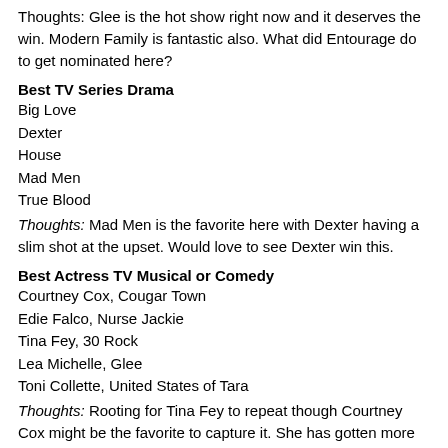Thoughts: Glee is the hot show right now and it deserves the win. Modern Family is fantastic also. What did Entourage do to get nominated here?
Best TV Series Drama
Big Love
Dexter
House
Mad Men
True Blood
Thoughts: Mad Men is the favorite here with Dexter having a slim shot at the upset. Would love to see Dexter win this.
Best Actress TV Musical or Comedy
Courtney Cox, Cougar Town
Edie Falco, Nurse Jackie
Tina Fey, 30 Rock
Lea Michelle, Glee
Toni Collette, United States of Tara
Thoughts: Rooting for Tina Fey to repeat though Courtney Cox might be the favorite to capture it. She has gotten more exposure for her comeback.
Best Actor TV Musical or Comedy
Alec Baldwin, 30 Rock
Steve Carrell, The Office
David Duchovny, Californication